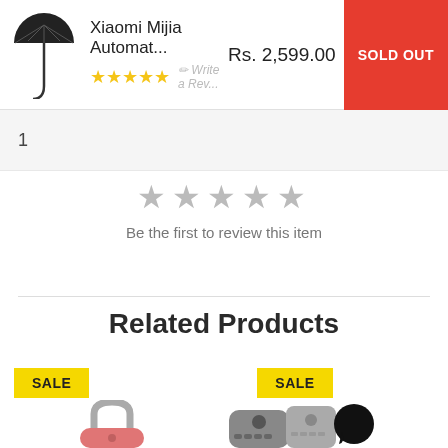[Figure (screenshot): E-commerce product page showing Xiaomi Mijia Automat... umbrella with yellow star ratings, Rs. 2,599.00 price, and red SOLD OUT button]
Xiaomi Mijia Automat...
Rs. 2,599.00
SOLD OUT
Write a Review
1
Be the first to review this item
Related Products
SALE
SALE
[Figure (photo): Pink/red fingerprint padlock product image]
[Figure (photo): Remote control product image with black chat bubble circle overlay]